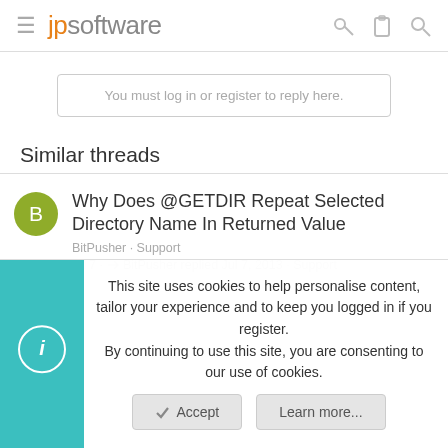jpsoftware
You must log in or register to reply here.
Similar threads
Why Does @GETDIR Repeat Selected Directory Name In Returned Value
BitPusher · Support
7 · BitPusher replied Jul 7, 2013 · Support
This site uses cookies to help personalise content, tailor your experience and to keep you logged in if you register. By continuing to use this site, you are consenting to our use of cookies.